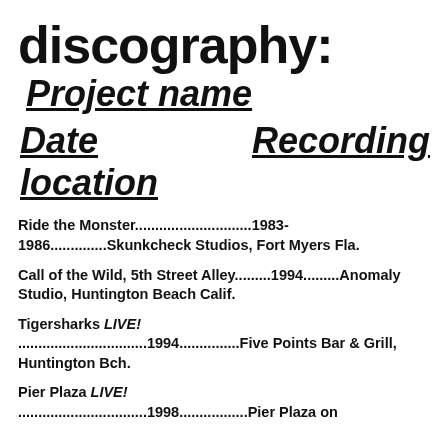discography:
Project name
Date    Recording location
Ride the Monster.............................1983-1986..............Skunkcheck Studios, Fort Myers Fla.
Call of the Wild, 5th Street Alley.........1994.........Anomaly Studio, Huntington Beach Calif.
Tigersharks LIVE! ................................1994...............Five Points Bar & Grill, Huntington Bch.
Pier Plaza LIVE! ................................1998.................Pier Plaza on